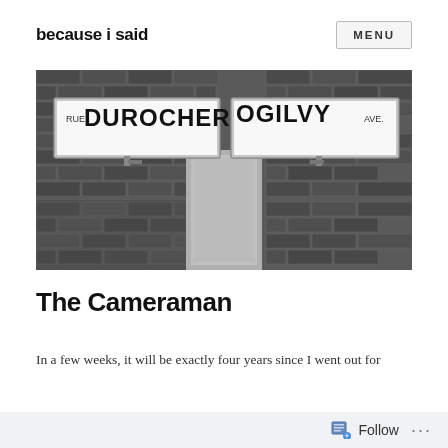because i said   MENU
[Figure (photo): Black and white photograph of a brick wall corner showing two street signs: 'RUE DUROCHER' and 'OGILVY AVE.']
The Cameraman
In a few weeks, it will be exactly four years since I went out for
Follow ...